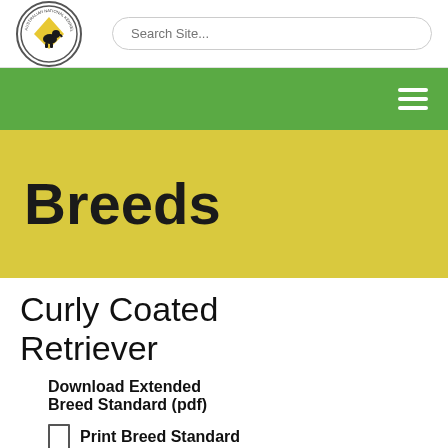[Figure (logo): Circular logo with dog silhouette and text around the border]
Search Site...
Breeds
Curly Coated Retriever
Download Extended Breed Standard (pdf)
Print Breed Standard
A breed standard is the guideline which